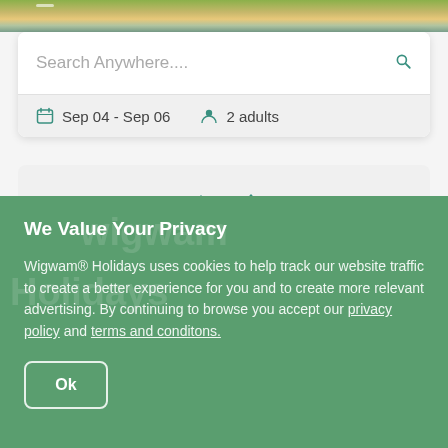[Figure (screenshot): Top image strip showing a coastal/nature landscape with green and golden tones]
Search Anywhere....
Sep 04 - Sep 06   2 adults
[Figure (illustration): Two cabin/house icons in teal color]
We Value Your Privacy
Wigwam® Holidays uses cookies to help track our website traffic to create a better experience for you and to create more relevant advertising. By continuing to browse you accept our privacy policy and terms and conditons.
Ok